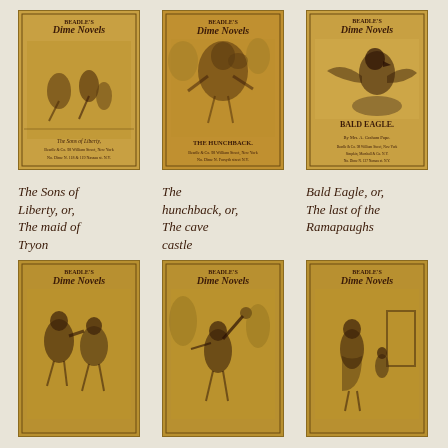[Figure (illustration): Cover of Beadle's Dime Novels - The Sons of Liberty, or, The maid of Tryon. Orange/sepia toned cover with action scene illustration.]
The Sons of Liberty, or, The maid of Tryon
[Figure (illustration): Cover of Beadle's Dime Novels - The hunchback, or, The cave castle. Orange/sepia toned cover with hunchback figure illustration.]
The hunchback, or, The cave castle
[Figure (illustration): Cover of Beadle's Dime Novels - Bald Eagle, or, The last of the Ramapaughs. Orange/sepia toned cover with eagle illustration.]
Bald Eagle, or, The last of the Ramapaughs
[Figure (illustration): Cover of Beadle's Dime Novels - partial view, bottom row left. Orange/sepia toned cover with figures in action.]
[Figure (illustration): Cover of Beadle's Dime Novels - partial view, bottom row center. Orange/sepia toned cover with figure throwing object.]
[Figure (illustration): Cover of Beadle's Dime Novels - partial view, bottom row right. Orange/sepia toned cover with figures near doorway.]